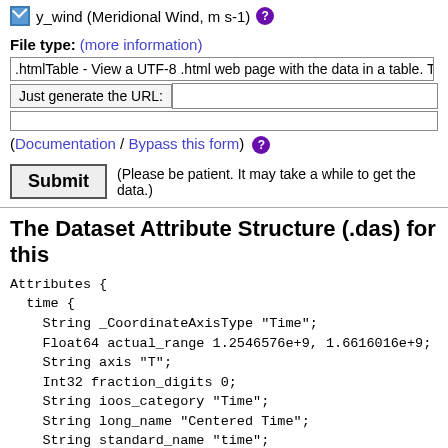y_wind (Meridional Wind, m s-1)
File type: (more information)
.htmlTable - View a UTF-8 .html web page with the data in a table. Times a
Just generate the URL:
(Documentation / Bypass this form)
Submit (Please be patient. It may take a while to get the data.)
The Dataset Attribute Structure (.das) for this
Attributes {
  time {
    String _CoordinateAxisType "Time";
    Float64 actual_range 1.2546576e+9, 1.6616016e+9;
    String axis "T";
    Int32 fraction_digits 0;
    String ioos_category "Time";
    String long_name "Centered Time";
    String standard_name "time";
    String time_origin "01-JAN-1970 00:00:00";